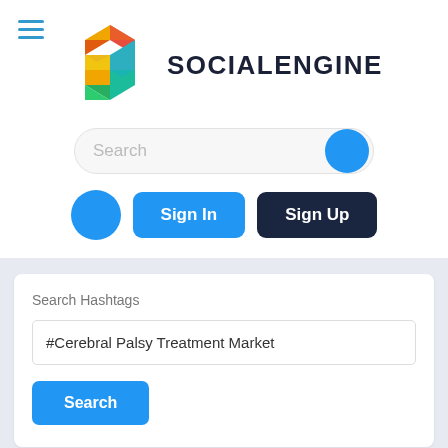[Figure (logo): SocialEngine colorful geometric S-shaped logo made of triangular facets in red, orange, yellow, green, and teal/blue colors]
SOCIALENGINE
Search
Sign In
Sign Up
Search Hashtags
#Cerebral Palsy Treatment Market
Search